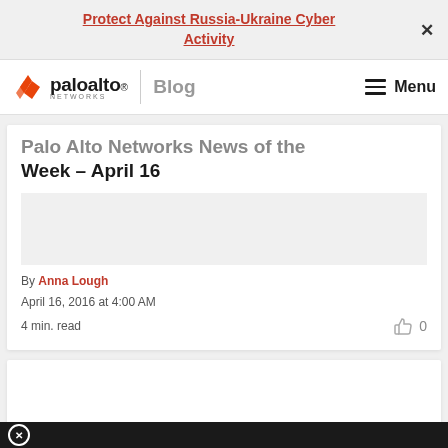Protect Against Russia-Ukraine Cyber Activity
paloalto NETWORKS Blog Menu
Palo Alto Networks News of the Week – April 16
By Anna Lough
April 16, 2016 at 4:00 AM
4 min. read